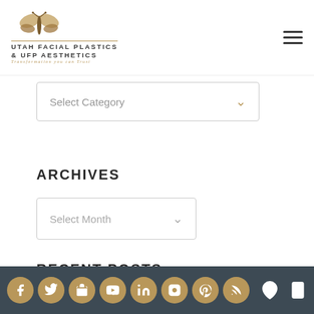UTAH FACIAL PLASTICS & UFP AESTHETICS — Transformation you can trust
Select Category
ARCHIVES
Select Month
RECENT POSTS
Laser Resurfacing: Everything You Need To Know For Your Skin Type
Social icons: Facebook, Twitter, Google+, YouTube, LinkedIn, Instagram, Pinterest, RSS. Footer icons: location, mobile.